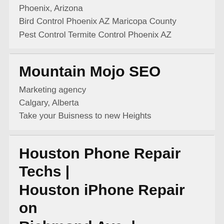Phoenix, Arizona
Bird Control Phoenix AZ Maricopa County
Pest Control Termite Control Phoenix AZ
Mountain Mojo SEO
Marketing agency
Calgary, Alberta
Take your Buisness to new Heights
Houston Phone Repair Techs | Houston iPhone Repair on Richmond Ave. | Electronics Repair Shop